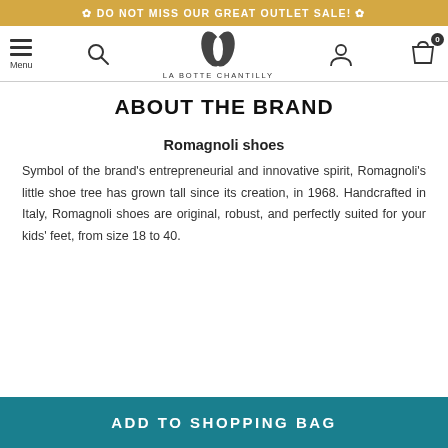✿ DO NOT MISS OUR GREAT OUTLET SALE! ✿
[Figure (logo): La Botte Chantilly logo with menu, search, logo mark, user icon, and shopping bag icon navigation bar]
ABOUT THE BRAND
Romagnoli shoes
Symbol of the brand's entrepreneurial and innovative spirit, Romagnoli's little shoe tree has grown tall since its creation, in 1968. Handcrafted in Italy, Romagnoli shoes are original, robust, and perfectly suited for your kids' feet, from size 18 to 40.
ADD TO SHOPPING BAG